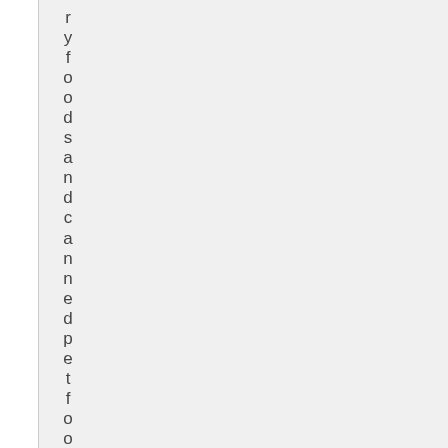ryfoods and canned pet food Sto